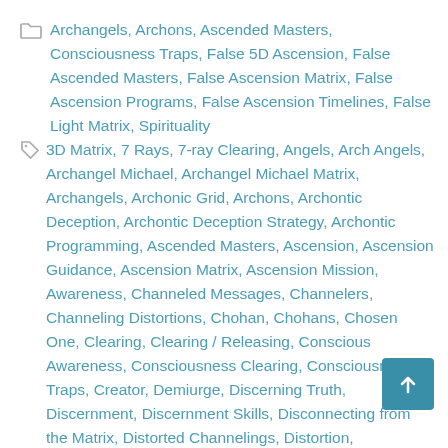Categories: Archangels, Archons, Ascended Masters, Consciousness Traps, False 5D Ascension, False Ascended Masters, False Ascension Matrix, False Ascension Programs, False Ascension Timelines, False Light Matrix, Spirituality
Tags: 3D Matrix, 7 Rays, 7-ray Clearing, Angels, Arch Angels, Archangel Michael, Archangel Michael Matrix, Archangels, Archonic Grid, Archons, Archontic Deception, Archontic Deception Strategy, Archontic Programming, Ascended Masters, Ascension, Ascension Guidance, Ascension Matrix, Ascension Mission, Awareness, Channeled Messages, Channelers, Channeling Distortions, Chohan, Chohans, Chosen One, Clearing, Clearing / Releasing, Conscious Awareness, Consciousness Clearing, Consciousness Traps, Creator, Demiurge, Discerning Truth, Discernment, Discernment Skills, Disconnecting from the Matrix, Distorted Channelings, Distortion, Distortions, Divine Light, Divine Source Energy, Duality, Energetic Clearing, Energetic Discernment, Energetic